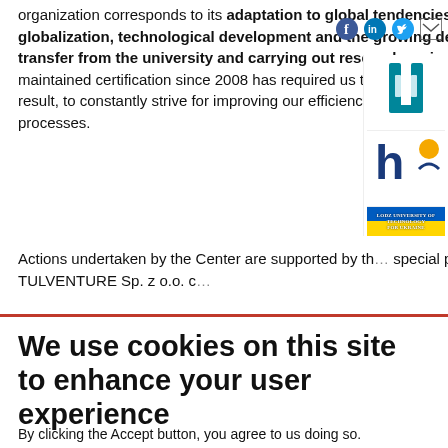organization corresponds to its adaptation to global tendencies in education, globalization, technological development and the growing demand for knowledge transfer from the university and carrying out research projects for industry. Having maintained certification since 2008 has required us to undergo regular audits and, as a result, to constantly strive for improving our efficiency and the effectiveness of all the processes.
Actions undertaken by the Center are supported by the special purpose vehicle TULVENTURE Sp. z o.o. c…
[Figure (logo): Social media icons: Facebook, LinkedIn, Twitter, Email]
[Figure (logo): Lodz University of Technology logo and HR logo and Ukraine banner]
We use cookies on this site to enhance your user experience
By clicking the Accept button, you agree to us doing so.